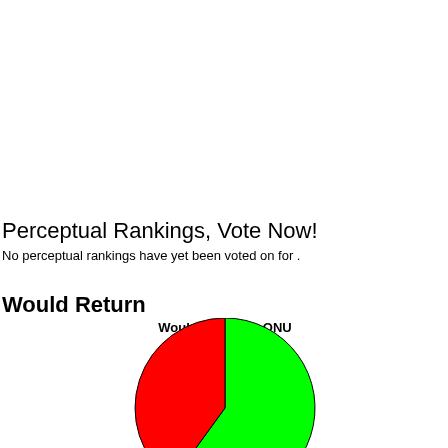Perceptual Rankings, Vote Now!
No perceptual rankings have yet been voted on for .
Would Return
[Figure (pie-chart): Would Return to ONU]